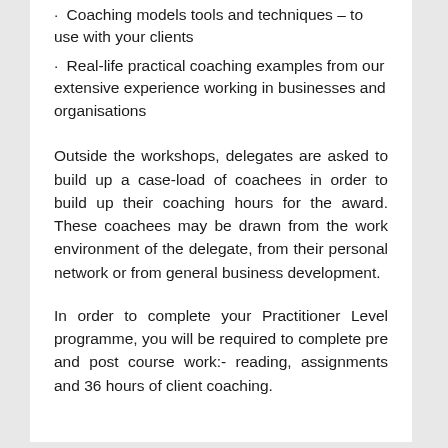• Coaching models tools and techniques – to use with your clients
• Real-life practical coaching examples from our extensive experience working in businesses and organisations
Outside the workshops, delegates are asked to build up a case-load of coachees in order to build up their coaching hours for the award. These coachees may be drawn from the work environment of the delegate, from their personal network or from general business development.
In order to complete your Practitioner Level programme, you will be required to complete pre and post course work:- reading, assignments and 36 hours of client coaching.